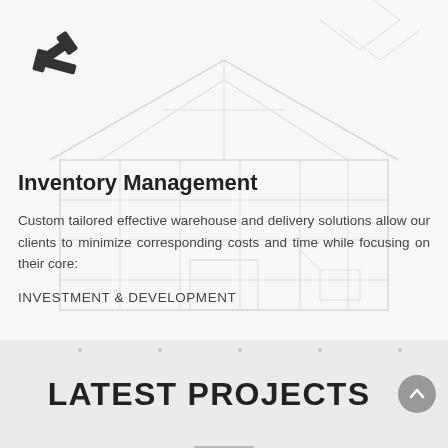[Figure (illustration): Tools / construction icon — two crossed hammers/wrench tools in dark gray]
Inventory Management
Custom tailored effective warehouse and delivery solutions allow our clients to minimize corresponding costs and time while focusing on their core:
INVESTMENT & DEVELOPMENT
LATEST PROJECTS